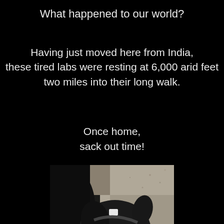What happened to our world?
Having just moved here from India, these tired labs were resting at 6,000 arid feet two miles into their long walk.
Once home,
sack out time!
[Figure (photo): Close-up photo of a black Labrador dog resting, head tilted, with a white tag visible on its collar, resting on sandy/gravel ground]